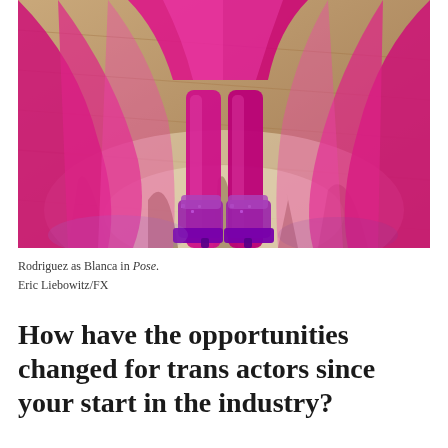[Figure (photo): Lower body of a person wearing a bright magenta/fuchsia flowing gown and matching sparkly high-heel ankle boots, standing on a wooden floor with dramatic light and shadow. The figure wears sheer magenta fabric panels that billow outward.]
Rodriguez as Blanca in Pose.
Eric Liebowitz/FX
How have the opportunities changed for trans actors since your start in the industry?